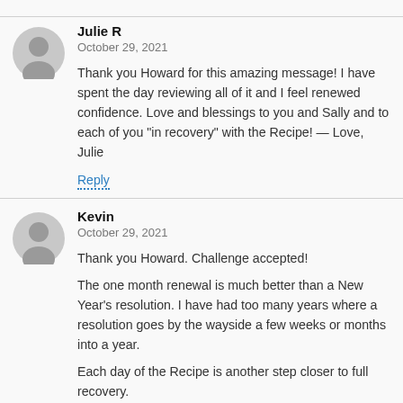Julie R
October 29, 2021
Thank you Howard for this amazing message! I have spent the day reviewing all of it and I feel renewed confidence. Love and blessings to you and Sally and to each of you "in recovery" with the Recipe! — Love, Julie
Reply
Kevin
October 29, 2021
Thank you Howard. Challenge accepted!
The one month renewal is much better than a New Year's resolution. I have had too many years where a resolution goes by the wayside a few weeks or months into a year.
Each day of the Recipe is another step closer to full recovery.
Blessings.
Reply